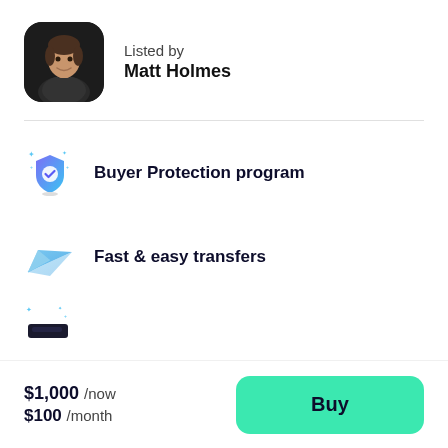[Figure (photo): Circular rounded-rectangle avatar photo of Matt Holmes, a man in a dark shirt against a dark background]
Listed by
Matt Holmes
Buyer Protection program
Fast & easy transfers
$1,000 /now
$100 /month
Buy